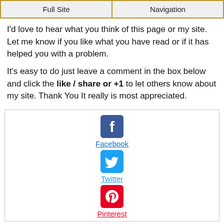Full Site | Navigation
I'd love to hear what you think of this page or my site. Let me know if you like what you have read or if it has helped you with a problem.
It's easy to do just leave a comment in the box below and click the like / share or +1 to let others know about my site. Thank You It really is most appreciated.
[Figure (infographic): Social sharing icons and links for Facebook, Twitter, and Pinterest displayed in a bordered box]